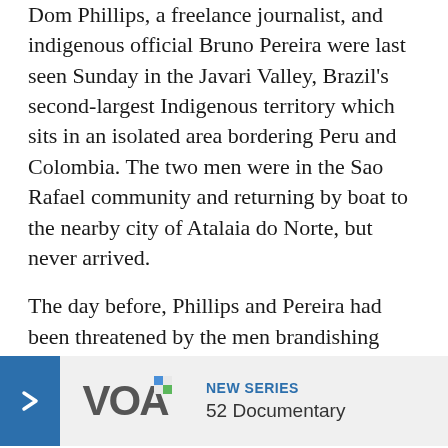Dom Phillips, a freelance journalist, and indigenous official Bruno Pereira were last seen Sunday in the Javari Valley, Brazil's second-largest Indigenous territory which sits in an isolated area bordering Peru and Colombia. The two men were in the Sao Rafael community and returning by boat to the nearby city of Atalaia do Norte, but never arrived.
The day before, Phillips and Pereira had been threatened by the men brandishing guns, Paulo Marubo, president of a Javari Valley association of Indigenous people, Univaja, told The Associated Press. Marubo said that Phillips photographed the men at the time, including local resident Amarildo da Costa de Oliveira, known as Pelado.
Costa de Oliveira... and is considered... disappearance.
[Figure (logo): VOA (Voice of America) promotional banner with blue arrow button, VOA logo, NEW SERIES label and '52 Documentary' text]